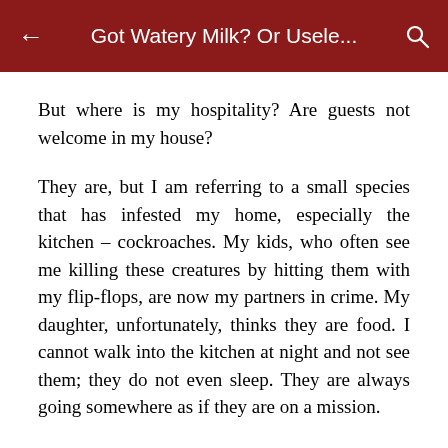Got Watery Milk? Or Usele...
But where is my hospitality? Are guests not welcome in my house?
They are, but I am referring to a small species that has infested my home, especially the kitchen – cockroaches. My kids, who often see me killing these creatures by hitting them with my flip-flops, are now my partners in crime. My daughter, unfortunately, thinks they are food. I cannot walk into the kitchen at night and not see them; they do not even sleep. They are always going somewhere as if they are on a mission.
Worse still, none of the gels or sprays sold in the market can kill them. None of them works. I have spent a lot of money trying to get rid of them, but nothing has been successful so far. I can imagine the